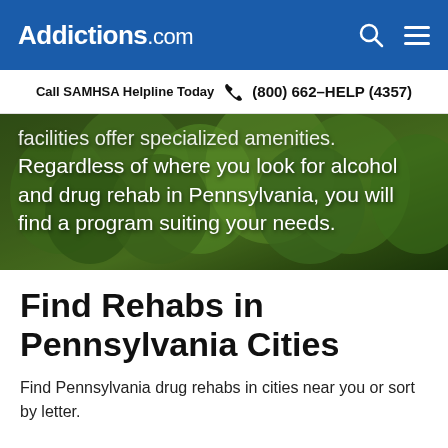Addictions.com
Call SAMHSA Helpline Today  (800) 662-HELP (4357)
[Figure (photo): Background nature/forest photo with overlaid white text reading: 'facilities offer specialized amenities. Regardless of where you look for alcohol and drug rehab in Pennsylvania, you will find a program suiting your needs.']
Find Rehabs in Pennsylvania Cities
Find Pennsylvania drug rehabs in cities near you or sort by letter.